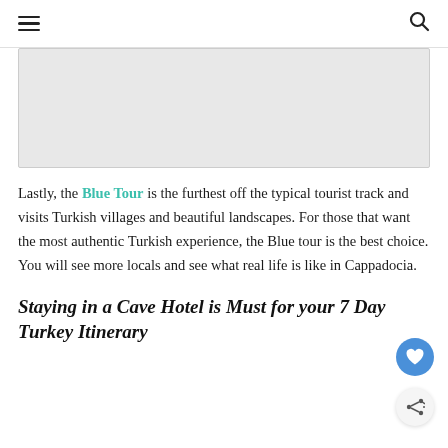☰  🔍
[Figure (photo): Gray placeholder image block at the top of the page]
Lastly, the Blue Tour is the furthest off the typical tourist track and visits Turkish villages and beautiful landscapes. For those that want the most authentic Turkish experience, the Blue tour is the best choice. You will see more locals and see what real life is like in Cappadocia.
Staying in a Cave Hotel is Must for your 7 Day Turkey Itinerary